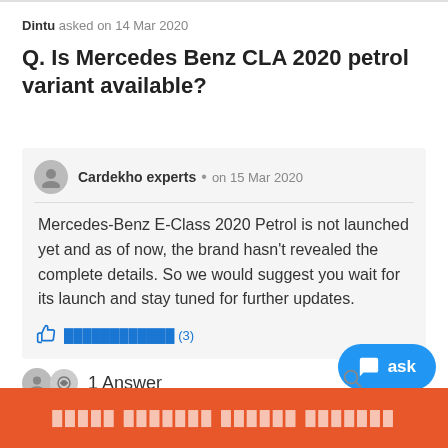Dintu asked on 14 Mar 2020
Q. Is Mercedes Benz CLA 2020 petrol variant available?
Cardekho experts • on 15 Mar 2020
Mercedes-Benz E-Class 2020 Petrol is not launched yet and as of now, the brand hasn't revealed the complete details. So we would suggest you wait for its launch and stay tuned for further updates.
1 Answer
ask